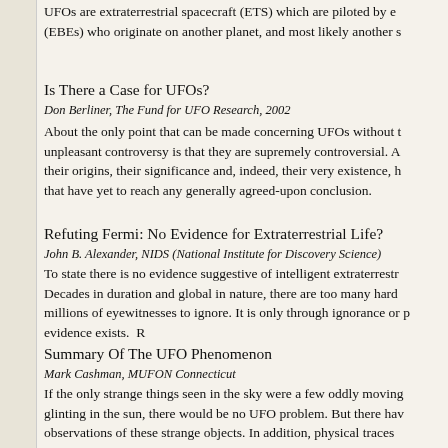UFOs are extraterrestrial spacecraft (ETS) which are piloted by ex (EBEs) who originate on another planet, and most likely another s
Is There a Case for UFOs?
Don Berliner, The Fund for UFO Research, 2002
About the only point that can be made concerning UFOs without th unpleasant controversy is that they are supremely controversial. A their origins, their significance and, indeed, their very existence, h that have yet to reach any generally agreed-upon conclusion.
Refuting Fermi: No Evidence for Extraterrestrial Life?
John B. Alexander, NIDS (National Institute for Discovery Science)
To state there is no evidence suggestive of intelligent extraterrestr Decades in duration and global in nature, there are too many hard millions of eyewitnesses to ignore. It is only through ignorance or p evidence exists.  R
Summary Of The UFO Phenomenon
Mark Cashman, MUFON Connecticut
If the only strange things seen in the sky were a few oddly moving glinting in the sun, there would be no UFO problem. But there hav observations of these strange objects. In addition, physical traces behind, and witnesses have experienced physical and medical eff death. Of all of the reported sightings, between 5 and 25% (depen